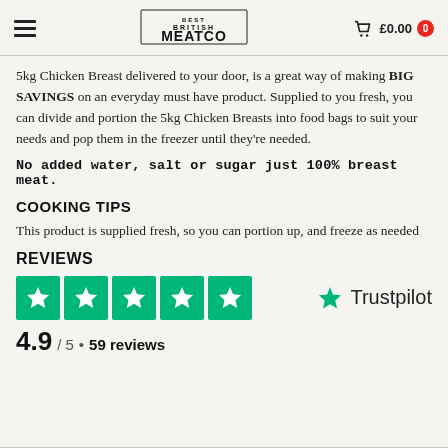Best British Meat Co — £0.00 0
5kg Chicken Breast delivered to your door, is a great way of making BIG SAVINGS on an everyday must have product. Supplied to you fresh, you can divide and portion the 5kg Chicken Breasts into food bags to suit your needs and pop them in the freezer until they're needed.
No added water, salt or sugar just 100% breast meat.
COOKING TIPS
This product is supplied fresh, so you can portion up, and freeze as needed
REVIEWS
[Figure (infographic): Five green Trustpilot star rating boxes and Trustpilot logo with star. Rating 4.9 / 5 • 59 reviews]